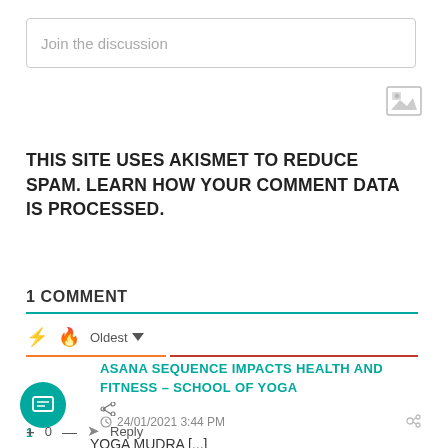Join the discussion
[Figure (illustration): Small image/photo icon]
THIS SITE USES AKISMET TO REDUCE SPAM. LEARN HOW YOUR COMMENT DATA IS PROCESSED.
1 COMMENT
⚡ 🔥 Oldest ▼
ASANA SEQUENCE IMPACTS HEALTH AND FITNESS – SCHOOL OF YOGA
24/01/2021 3:44 PM
YOGA MUDRA [...]
+ 0 — Reply